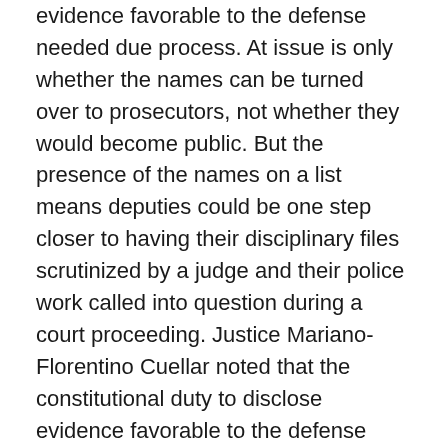evidence favorable to the defense needed due process. At issue is only whether the names can be turned over to prosecutors, not whether they would become public. But the presence of the names on a list means deputies could be one step closer to having their disciplinary files scrutinized by a judge and their police work called into question during a court proceeding. Justice Mariano-Florentino Cuellar noted that the constitutional duty to disclose evidence favorable to the defense trumps state law intended to protect the privacy of law enforcement officers. He suggested the court could “hanize” the laws. He called the case “very challenging,” but also noted that “the Brady responsibility is on the state.” Justice Joshua P. Groban expressed skepticism about the union’s legal arguments. “You are saying as long as we can bar the door and keep